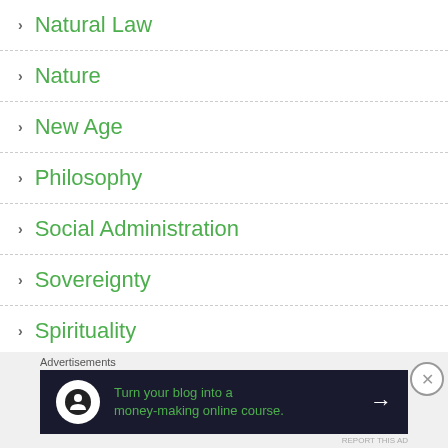Natural Law
Nature
New Age
Philosophy
Social Administration
Sovereignty
Spirituality
Uncategorized
Advertisements
Turn your blog into a money-making online course.